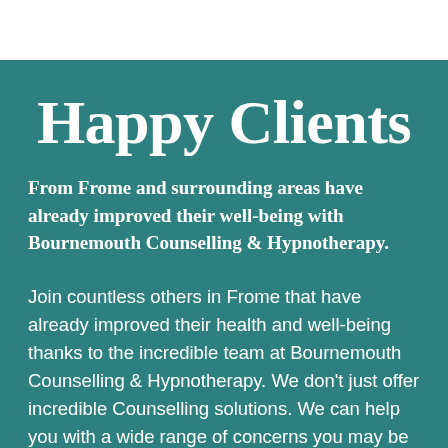Happy Clients
From Frome and surrounding areas have already improved their well-being with Bournemouth Counselling & Hypnotherapy.
Join countless others in Frome that have already improved their health and well-being thanks to the incredible team at Bournemouth Counselling & Hypnotherapy. We don't just offer incredible Counselling solutions. We can help you with a wide range of concerns you may be having in your life. We also offer targeted strategies that aim to